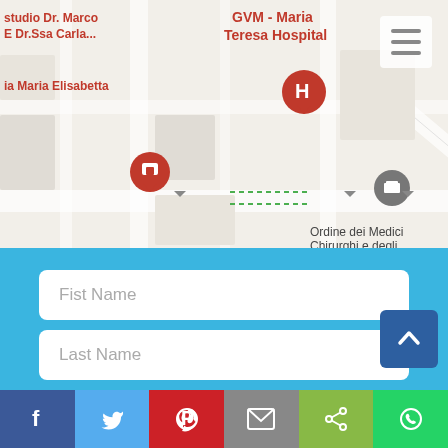[Figure (map): Google Maps screenshot showing streets and landmarks including GVM - Maria Teresa Hospital (marked with H pin), Ordine dei Medici Chirurghi e degli, Via della Cernaia street label, studio Dr. Marco e Dr.Ssa Carla pin, Via Maria Elisabetta pin, and a hamburger menu icon in top-right corner.]
Fist Name
Last Name
Your Email *
Phone